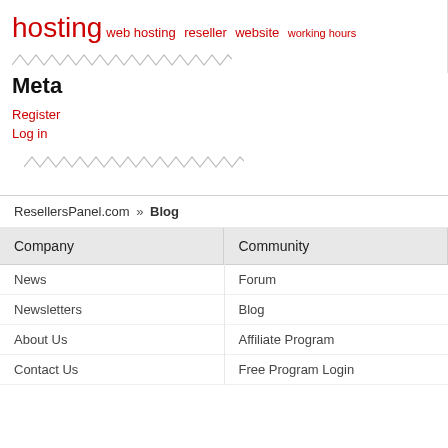hosting web hosting reseller website working hours
[Figure (other): Zigzag decorative divider line]
Meta
Register
Log in
[Figure (other): Zigzag decorative divider line]
ResellersPanel.com » Blog
Company
Community
News
Forum
Newsletters
Blog
About Us
Affiliate Program
Contact Us
Free Program Login